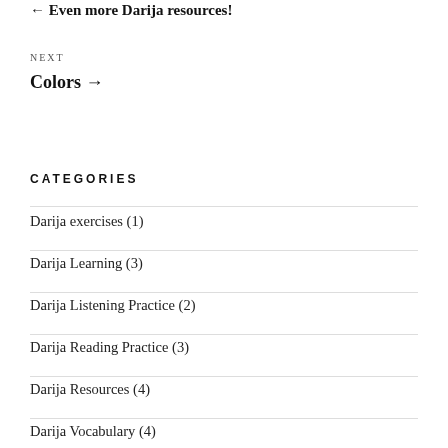← Even more Darija resources!
NEXT
Colors →
CATEGORIES
Darija exercises (1)
Darija Learning (3)
Darija Listening Practice (2)
Darija Reading Practice (3)
Darija Resources (4)
Darija Vocabulary (4)